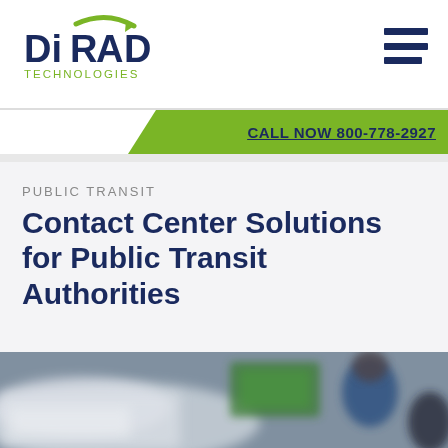[Figure (logo): DiRAD Technologies logo — 'DiRAD' in blue bold letters with green arc swoosh above, 'TECHNOLOGIES' in small green text below]
CALL NOW 800-778-2927
PUBLIC TRANSIT
Contact Center Solutions for Public Transit Authorities
[Figure (photo): Blurred photo of a public transit scene showing a bus or transit vehicle with people, featuring green signage and a person in a blue jacket]